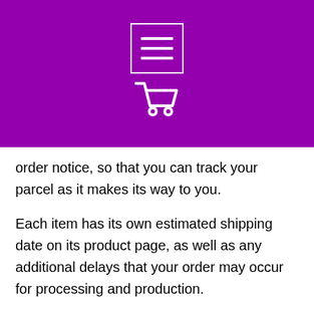[Figure (screenshot): Purple header bar with hamburger menu icon (three horizontal lines in a white rectangle outline) and a white shopping cart icon below it]
order notice, so that you can track your parcel as it makes its way to you.
Each item has its own estimated shipping date on its product page, as well as any additional delays that your order may occur for processing and production.
Some of products stock in our overseas warehouse for faster delivery, It can shipping in one day, at no additional cost to our clients.
Warehouse location: